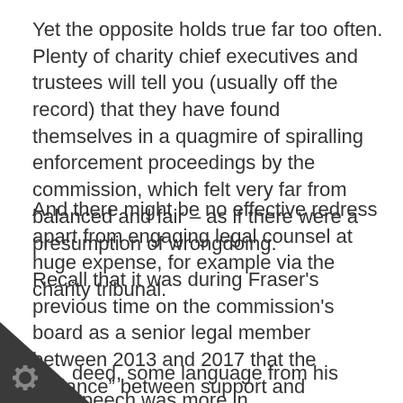Yet the opposite holds true far too often. Plenty of charity chief executives and trustees will tell you (usually off the record) that they have found themselves in a quagmire of spiralling enforcement proceedings by the commission, which felt very far from balanced and fair – as if there were a presumption of wrongdoing.
And there might be no effective redress apart from engaging legal counsel at huge expense, for example via the charity tribunal.
Recall that it was during Fraser's previous time on the commission's board as a senior legal member between 2013 and 2017 that the “balance” between support and enforcement began to tilt towards the latter.
Indeed, some language from his speech was more in keeping with his predecessor’s: “Intentional wrongdoers,